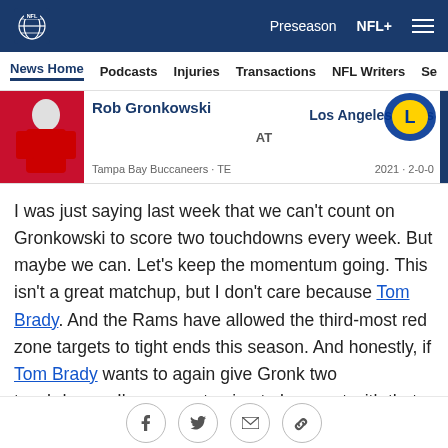NFL | Preseason | NFL+
News Home | Podcasts | Injuries | Transactions | NFL Writers | Se
[Figure (infographic): Player matchup card showing Rob Gronkowski (Tampa Bay Buccaneers · TE) AT Los Angeles Rams, 2021 · 2-0-0]
I was just saying last week that we can't count on Gronkowski to score two touchdowns every week. But maybe we can. Let's keep the momentum going. This isn't a great matchup, but I don't care because Tom Brady. And the Rams have allowed the third-most red zone targets to tight ends this season. And honestly, if Tom Brady wants to again give Gronk two touchdowns, I'm sure not going to be upset with that.